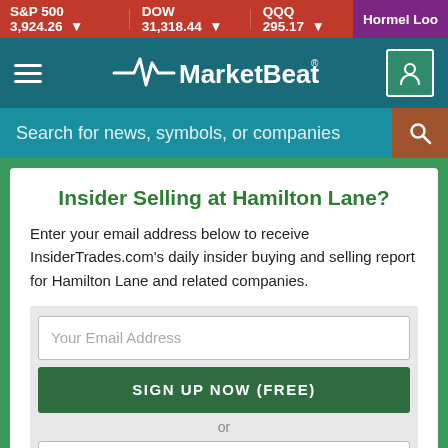S&P 500 3,924.26 ▼  DOW 31,318.44 ▼  QQQ 295.17 ▼  Hormel Loo
[Figure (logo): MarketBeat logo with heartbeat line icon on teal navigation bar]
Search for news, symbols, or companies
Insider Selling at Hamilton Lane?
Enter your email address below to receive InsiderTrades.com's daily insider buying and selling report for Hamilton Lane and related companies.
Your Email Address
SIGN UP NOW (FREE)
or
Sign up with Google
Privacy Policy